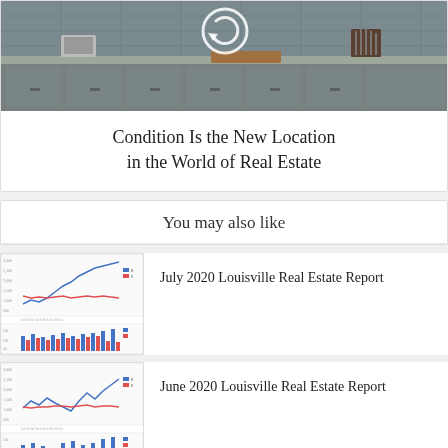[Figure (photo): Kitchen interior photo showing gray cabinets, countertops with knife block, cutting board, and small appliances. A circular arrow/reload icon overlaid in the center.]
Condition Is the New Location in the World of Real Estate
You may also like
[Figure (screenshot): Thumbnail of July 2020 Louisville Real Estate Report showing line and bar charts with blue and red lines and colored bars.]
July 2020 Louisville Real Estate Report
[Figure (screenshot): Thumbnail of June 2020 Louisville Real Estate Report showing line and bar charts with blue and red lines and colored bars.]
June 2020 Louisville Real Estate Report
[Figure (screenshot): Thumbnail of Louisville Housing Market Recovery Index showing a line chart with peaks and valleys.]
Louisville Housing Market Recovery Index